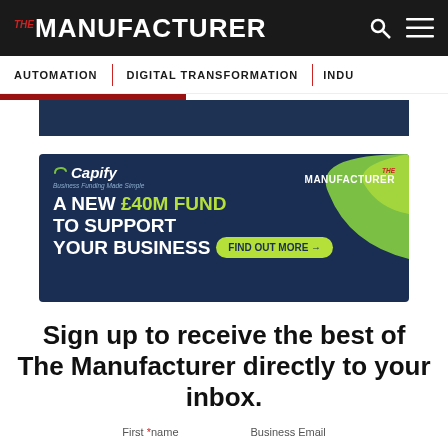THE MANUFACTURER
AUTOMATION | DIGITAL TRANSFORMATION | INDU...
[Figure (infographic): Capify advertisement banner: dark navy background with green accent blob. Logo reads Capify with arc symbol and tagline 'Business Funding Made Simple'. Co-branded with THE MANUFACTURER logo. Headline: A NEW £40M FUND TO SUPPORT YOUR BUSINESS. CTA button: Find out more →]
Sign up to receive the best of The Manufacturer directly to your inbox.
First name    Business Email